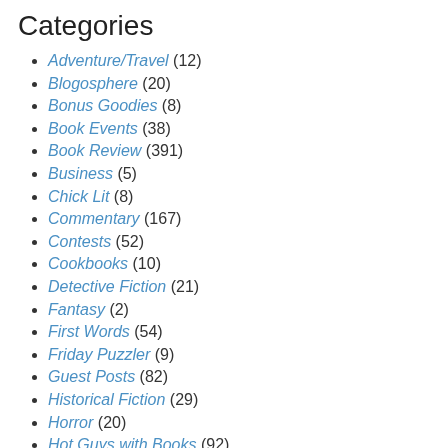Categories
Adventure/Travel (12)
Blogosphere (20)
Bonus Goodies (8)
Book Events (38)
Book Review (391)
Business (5)
Chick Lit (8)
Commentary (167)
Contests (52)
Cookbooks (10)
Detective Fiction (21)
Fantasy (2)
First Words (54)
Friday Puzzler (9)
Guest Posts (82)
Historical Fiction (29)
Horror (20)
Hot Guys with Books (92)
Hot Reads (4)
Library Thing (50)
Literary Fiction (67)